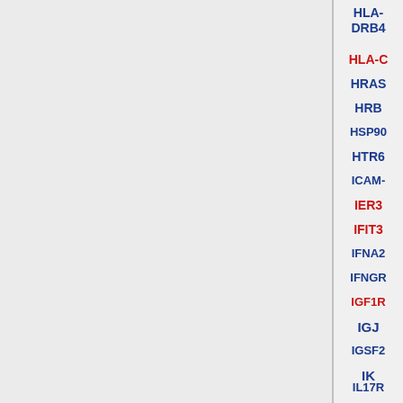[Figure (other): Grid of gene names in blue and red bold text, arranged in columns. Partial columns visible. Left side is a gray panel. Genes listed include AMBP, APOE, ATRN, BAD, BAT2, BCL11A, BCL2A1, BDKRB1, BLM, BLNK, BLR1, BMP4, BRAF, BRCA1, C1QL1, C1QTNF2 in first column; CD200, CD200R1, CD276, CD300E, CD320, CD70, CD93, CD99L2, CDC42, CDKN1B, CDKN2A, CEACAM8, CFHR2, CFHR3, CFHR4, CRISP3 in second column; DEFB105A, DEFB106A, DEFB119, DEFB123, DMBT1, DST, EBI3, EFEMP2, ELMO1, EP300, ERBB2, ERBB3, ERBB4, ETS1, F5, FCN2 in third column; HLA-DRB4 (partial), HLA-... (partial), HRAS (partial), HRB (partial), HSP90 (partial), HTR6 (partial), ICAM (partial), IER3 (partial), IFIT3 (partial), IFNA2 (partial), IFNGR (partial), IGF1R (partial), IGJ (partial), IGSF (partial), IK (partial), IL17R (partial) in fourth column.]